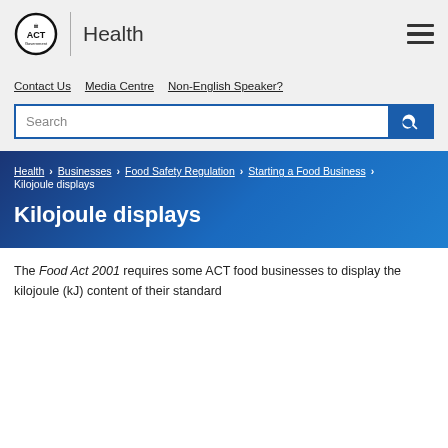ACT Government Health
Contact Us
Media Centre
Non-English Speaker?
Search
Health > Businesses > Food Safety Regulation > Starting a Food Business > Kilojoule displays
Kilojoule displays
The Food Act 2001 requires some ACT food businesses to display the kilojoule (kJ) content of their standard